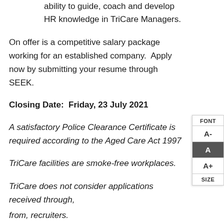ability to guide, coach and develop HR knowledge in TriCare Managers.
On offer is a competitive salary package working for an established company.  Apply now by submitting your resume through SEEK.
Closing Date:  Friday, 23 July 2021
A satisfactory Police Clearance Certificate is required according to the Aged Care Act 1997
TriCare facilities are smoke-free workplaces.
TriCare does not consider applications received through, from, recruiters.